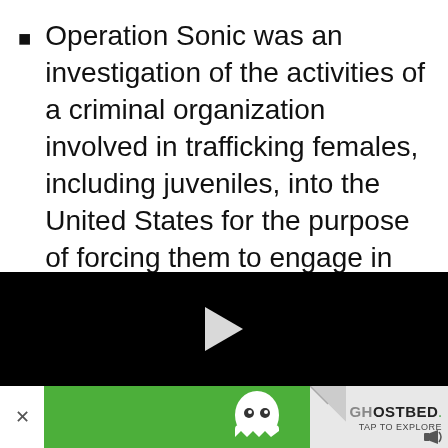Operation Sonic was an investigation of the activities of a criminal organization involved in trafficking females, including juveniles, into the United States for the purpose of forcing them to engage in commercial sex acts. As of mid-2002, eight defendants
[Figure (other): Black video player area with a white play button triangle in the center]
[Figure (other): Advertisement banner with close button, green Waze app ad on the left, and GhostBed ad on the right with page curl effect and TAP TO EXPLORE text]